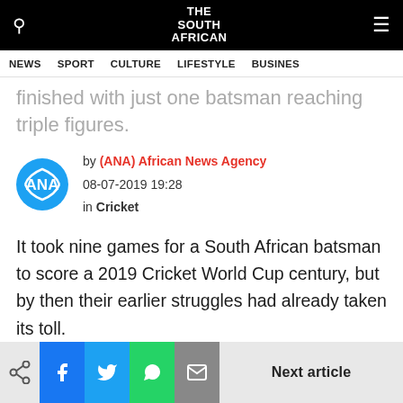THE SOUTH AFRICAN
NEWS | SPORT | CULTURE | LIFESTYLE | BUSINESS
finished with just one batsman reaching triple figures.
by (ANA) African News Agency
08-07-2019 19:28
in Cricket
It took nine games for a South African batsman to score a 2019 Cricket World Cup century, but by then their earlier struggles had already taken its toll.